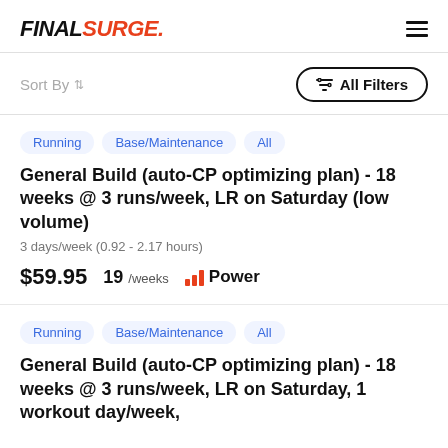FINAL SURGE
Sort By
All Filters
Running | Base/Maintenance | All
General Build (auto-CP optimizing plan) - 18 weeks @ 3 runs/week, LR on Saturday (low volume)
3 days/week (0.92 - 2.17 hours)
$59.95   19 /weeks   Power
Running | Base/Maintenance | All
General Build (auto-CP optimizing plan) - 18 weeks @ 3 runs/week, LR on Saturday, 1 workout day/week,